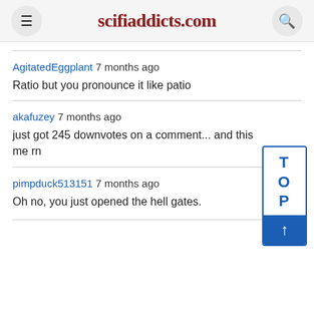scifiaddicts.com
AgitatedEggplant 7 months ago
Ratio but you pronounce it like patio
akafuzey 7 months ago
just got 245 downvotes on a comment... and this is me rn
[Figure (other): TOP scroll-to-top button widget with blue border, showing T O P letters and an upward arrow in a blue box]
pimpduck513151 7 months ago
Oh no, you just opened the hell gates.